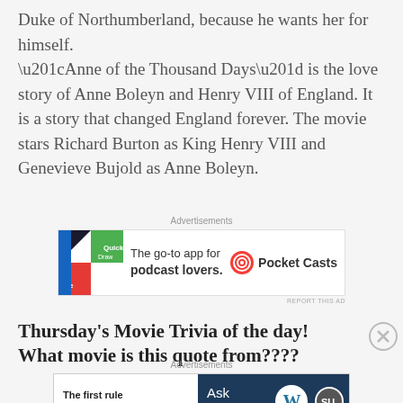Duke of Northumberland, because he wants her for himself. “Anne of the Thousand Days” is the love story of Anne Boleyn and Henry VIII of England. It is a story that changed England forever. The movie stars Richard Burton as King Henry VIII and Genevieve Bujold as Anne Boleyn.
[Figure (other): Advertisement: Pocket Casts app - The go-to app for podcast lovers.]
Thursday’s Movie Trivia of the day! What movie is this quote from????
[Figure (other): Advertisement: WordPress - The first rule of Startup School? Ask questions.]